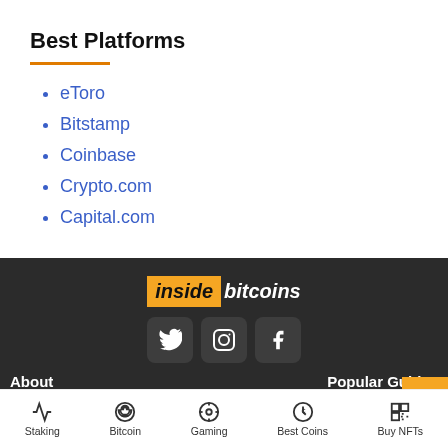Best Platforms
eToro
Bitstamp
Coinbase
Crypto.com
Capital.com
[Figure (logo): Inside Bitcoins logo with orange background for 'inside' and white text for 'bitcoins', with Twitter, Instagram, and Facebook social icons below]
About   Popular Guides
Staking   Bitcoin   Gaming   Best Coins   Buy NFTs